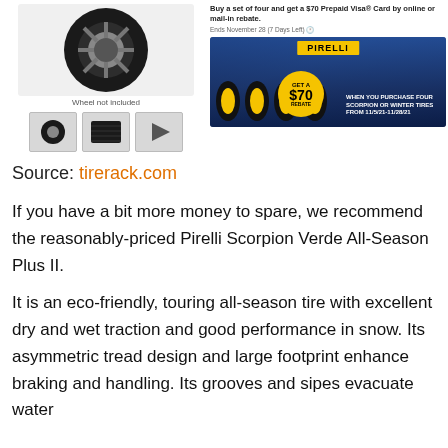[Figure (photo): Product image of a tire/wheel on the left, with thumbnail images below. On the right, a promotional rebate banner for Pirelli tires showing a $70 rebate offer when purchasing four Scorpion or Winter tires from 11/5/21-11/28/21.]
Wheel not included
Buy a set of four and get a $70 Prepaid Visa® Card by online or mail-in rebate.
Ends November 28 (7 Days Left) 🕐
Source: tirerack.com
If you have a bit more money to spare, we recommend the reasonably-priced Pirelli Scorpion Verde All-Season Plus II.
It is an eco-friendly, touring all-season tire with excellent dry and wet traction and good performance in snow. Its asymmetric tread design and large footprint enhance braking and handling. Its grooves and sipes evacuate water